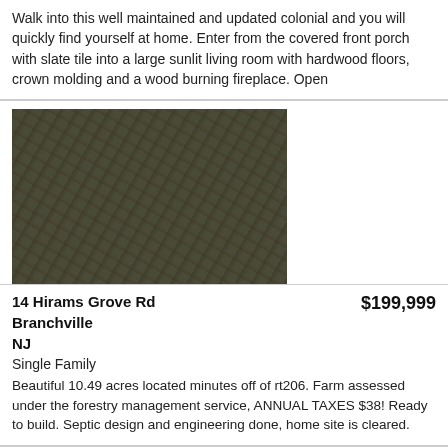Walk into this well maintained and updated colonial and you will quickly find yourself at home. Enter from the covered front porch with slate tile into a large sunlit living room with hardwood floors, crown molding and a wood burning fireplace. Open
[Figure (photo): Aerial photograph of wooded/forested land parcel, dark green-brown tree canopy viewed from above]
14 Hirams Grove Rd
Branchville
NJ
$199,999
Single Family
Beautiful 10.49 acres located minutes off of rt206. Farm assessed under the forestry management service, ANNUAL TAXES $38! Ready to build. Septic design and engineering done, home site is cleared.
[Figure (photo): Collage of property photos showing exterior of residential building and interior rooms]